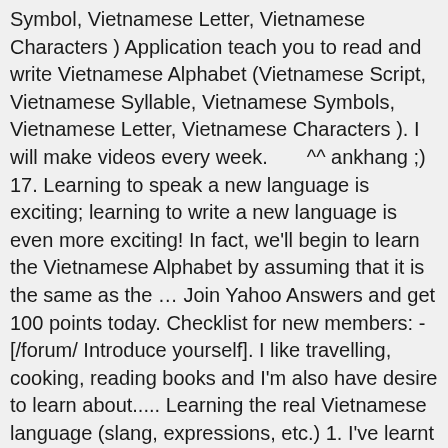Symbol, Vietnamese Letter, Vietnamese Characters ) Application teach you to read and write Vietnamese Alphabet (Vietnamese Script, Vietnamese Syllable, Vietnamese Symbols, Vietnamese Letter, Vietnamese Characters ). I will make videos every week.       ^^ ankhang ;) 17. Learning to speak a new language is exciting; learning to write a new language is even more exciting! In fact, we'll begin to learn the Vietnamese Alphabet by assuming that it is the same as the … Join Yahoo Answers and get 100 points today. Checklist for new members: - [/forum/ Introduce yourself]. I like travelling, cooking, reading books and I'm also have desire to learn about..... Learning the real Vietnamese language (slang, expressions, etc.) 1. I've learnt several languages for fun. I able to speak Vietnamese, English, Japanese. Hi, I am An Khang, come from Vietnam. https://bit.ly/2WzYlqr ← This is THE PLACE to get started with the Vietnamese Language. Learn Vietnamese in just 5 minutes a day with our game-like lessons. next. Here is the link: http://www.youtube.com/watch?v=_Eg2WgSppko. In